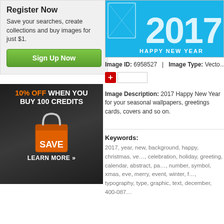Register Now
Save your searches, create collections and buy images for just $1.
Sign Up Now
[Figure (illustration): Advertisement banner: 10% OFF WHEN YOU BUY 100 CREDITS with SAVE and shopping bag. LEARN MORE »]
[Figure (illustration): 2017 Happy New Year vector image preview on blue background with HAPPY NEW YEAR text]
Image ID: 6958527   |   Image Type: Vector
Image Description: 2017 Happy New Year for your seasonal wallpapers, greetings cards, covers and so on.
Keywords:
2017, year, new, background, happy, christmas, ve..., celebration, holiday, greeting, calendar, abstract, pa..., number, symbol, xmas, eve, merry, event, winter, f..., typography, type, graphic, text, december, 400-087...